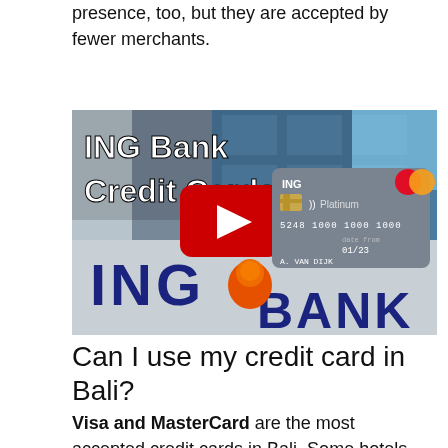presence, too, but they are accepted by fewer merchants.
[Figure (screenshot): YouTube video thumbnail showing ING Bank Credit Cards text overlaid on an ING Bank building exterior, with a red YouTube play button and an ING Platinum Mastercard credit card visible]
Can I use my credit card in Bali?
Visa and MasterCard are the most accepted credit cards in Bali. Some hotels and restaurants do take Amex, Diners Club